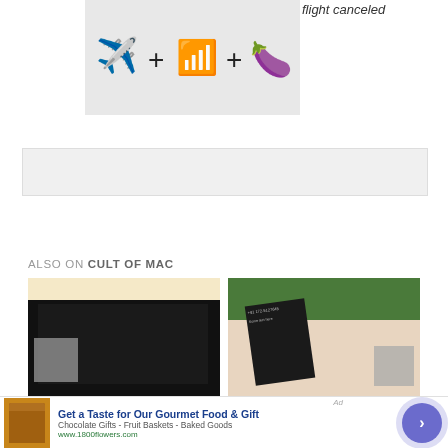[Figure (illustration): Emoji equation: airplane + wifi symbol + eggplant emoji on gray background]
flight canceled
[Figure (other): Gray advertisement banner placeholder]
ALSO ON CULT OF MAC
[Figure (photo): Left card: dark laptop/device on beige background with gray overlay thumbnail]
[Figure (photo): Right card: phone with Indian number on outdoor food setting with gray overlay thumbnail]
[Figure (other): Advertisement: Get a Taste for Our Gourmet Food & Gift - 1800flowers.com with food basket image and arrow button]